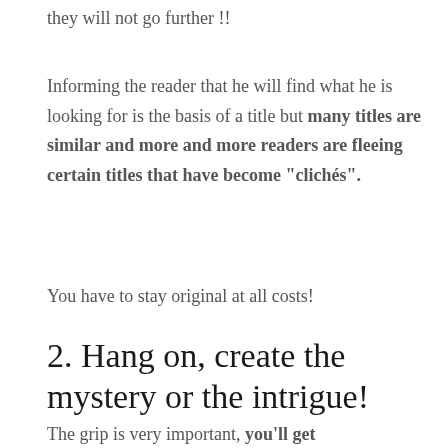they will not go further !!
Informing the reader that he will find what he is looking for is the basis of a title but many titles are similar and more and more readers are fleeing certain titles that have become “clichés”.
You have to stay original at all costs!
2. Hang on, create the mystery or the intrigue!
The grip is very important, you'll get